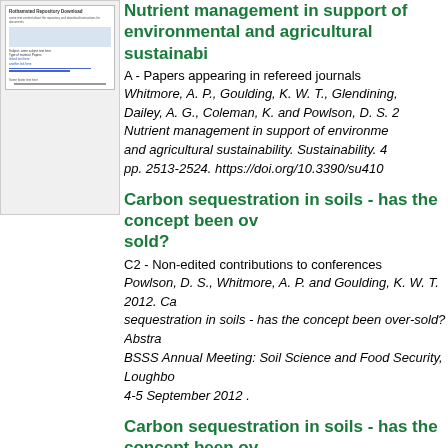[Figure (screenshot): Thumbnail preview of a document page titled 'Rothamsted Repository Download' showing text blocks and hyperlinks]
Nutrient management in support of environmental and agricultural sustainability
A - Papers appearing in refereed journals
Whitmore, A. P., Goulding, K. W. T., Glendining, Dailey, A. G., Coleman, K. and Powlson, D. S. 2 Nutrient management in support of environme and agricultural sustainability. Sustainability. 4 pp. 2513-2524. https://doi.org/10.3390/su410
Carbon sequestration in soils - has the concept been over sold?
C2 - Non-edited contributions to conferences
Powlson, D. S., Whitmore, A. P. and Goulding, K. W. T. 2012. Carbon sequestration in soils - has the concept been over-sold? Abstract BSSS Annual Meeting: Soil Science and Food Security, Loughborough, 4-5 September 2012 .
Carbon sequestration in soils - has the concept been over sold?
C2 - Non-edited contributions to conferences